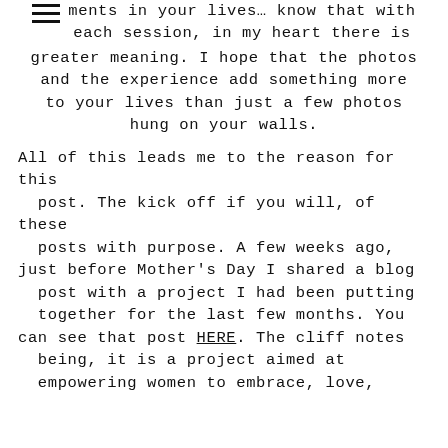capturing these pure, real, and stunning ments in your lives… know that with each session, in my heart there is greater meaning. I hope that the photos and the experience add something more to your lives than just a few photos hung on your walls. All of this leads me to the reason for this post. The kick off if you will, of these posts with purpose. A few weeks ago, just before Mother's Day I shared a blog post with a project I had been putting together for the last few months. You can see that post HERE. The cliff notes being, it is a project aimed at empowering women to embrace, love,